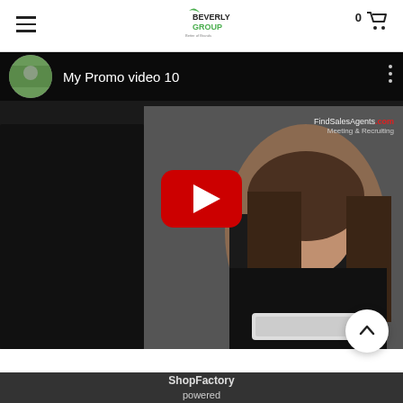[Figure (screenshot): Website header with hamburger menu on left, Beverly Group logo in center, cart icon with count 0 on right]
[Figure (screenshot): YouTube video thumbnail titled 'My Promo video 10' showing a woman in black turtleneck with a man in suit, FindSalesAgents.com watermark, red YouTube play button in center]
[Figure (other): Scroll to top circular button with upward arrow]
ShopFactory
powered